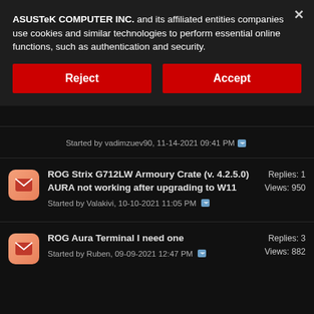ASUSTeK COMPUTER INC. and its affiliated entities companies use cookies and similar technologies to perform essential online functions, such as authentication and security.
Reject
Accept
Started by vadimzuev90, 11-14-2021 09:41 PM
ROG Strix G712LW Armoury Crate (v. 4.2.5.0) AURA not working after upgrading to W11
Started by Valakivi, 10-10-2021 11:05 PM
Replies: 1
Views: 950
ROG Aura Terminal I need one
Started by Ruben, 09-09-2021 12:47 PM
Replies: 3
Views: 882